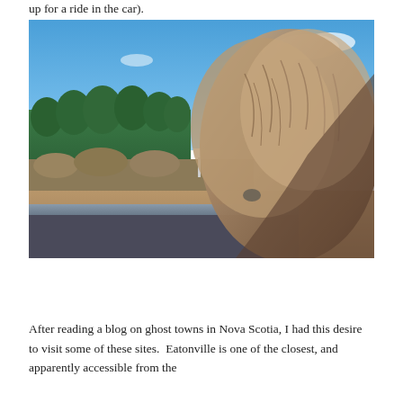up for a ride in the car).
[Figure (photo): A fluffy dog viewed from behind, looking out a car window at a rural road with evergreen trees and blue sky with light clouds.]
After reading a blog on ghost towns in Nova Scotia, I had this desire to visit some of these sites. Eatonville is one of the closest, and apparently accessible from the